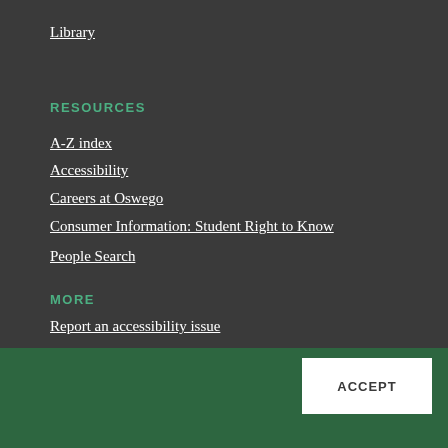Library
RESOURCES
A-Z index
Accessibility
Careers at Oswego
Consumer Information: Student Right to Know
People Search
MORE
Report an accessibility issue
This website uses cookies to offer you a better browsing experience.
NO, THANKS
VIEW OUR PRIVACY POLICY
ACCEPT